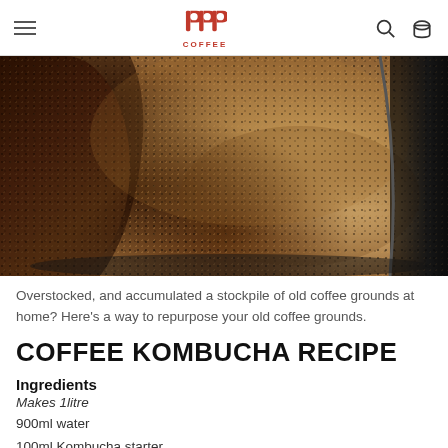PPP COFFEE
[Figure (photo): Close-up photo of coffee grounds being scooped or poured into a roasting drum, showing a dark scoop/container on the left pouring brown coffee grounds into a large round black roasting drum]
Overstocked, and accumulated a stockpile of old coffee grounds at home? Here's a way to repurpose your old coffee grounds.
COFFEE KOMBUCHA RECIPE
Ingredients
Makes 1litre
900ml water
100ml Kombucha starter
100g coarse-ground coffee